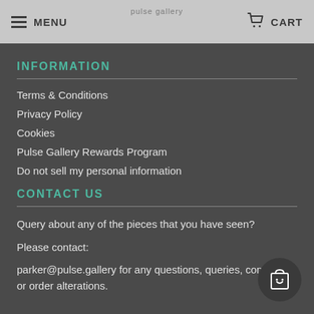MENU  CART
INFORMATION
Terms & Conditions
Privacy Policy
Cookies
Pulse Gallery Rewards Program
Do not sell my personal information
CONTACT US
Query about any of the pieces that you have seen?
Please contact:
parker@pulse.gallery for any questions, queries, concerns or order alterations.